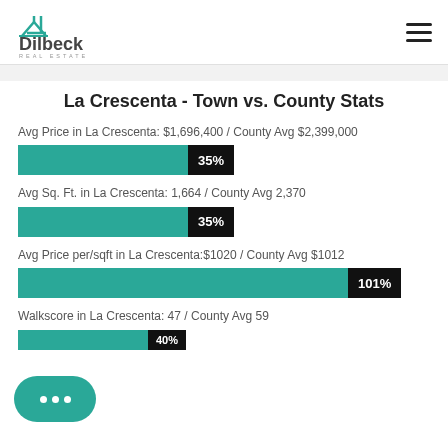[Figure (logo): Dilbeck Real Estate logo with teal roof/house icon and company name]
La Crescenta - Town vs. County Stats
Avg Price in La Crescenta: $1,696,400 / County Avg $2,399,000
[Figure (bar-chart): Avg Price comparison]
Avg Sq. Ft. in La Crescenta: 1,664 / County Avg 2,370
[Figure (bar-chart): Avg Sq Ft comparison]
Avg Price per/sqft in La Crescenta:$1020 / County Avg $1012
[Figure (bar-chart): Avg Price per sqft comparison]
Walkscore in La Crescenta: 47 / County Avg 59